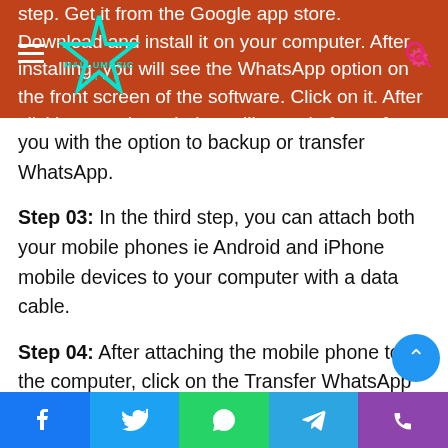MALLUMUSIC.INFO
step. Get it from the Google app store. Download and install it on your computer. After installing, you will see the WhatsApp option on the front screen of the software. Click on it. After clicking, another window will open in front of you with the option to backup or transfer WhatsApp.
Step 03: In the third step, you can attach both your mobile phones ie Android and iPhone mobile devices to your computer with a data cable.
Step 04: After attaching the mobile phone to the computer, click on the Transfer WhatsApp messages option. And your WhatsApp data will start transferring to your desired mobile device. This process will take a few minutes and will eventually bring you the option to be 100% complete. This completes the process of transferring your WhatsApp account data from one mobile device to another.
Facebook | Twitter | WhatsApp | Telegram | Phone